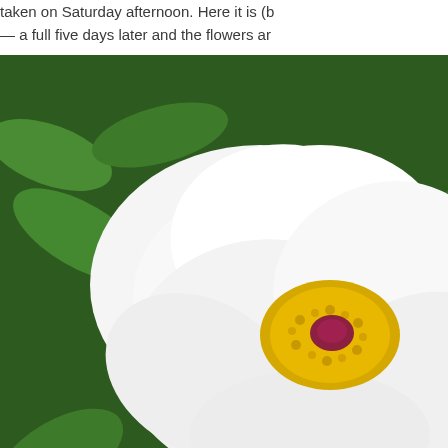taken on Saturday afternoon. Here it is (b — a full five days later and the flowers ar
[Figure (photo): A white peony flower with yellow and pink center stamens, surrounded by green leaves, photographed up close.]
This Peony is six years old and did not b significant dieback from the winter. This y beautifully and is loaded with flowers. Wh are spectacular you can see what I mean than my hand.
[Figure (photo): Bottom portion of a photo showing a peony flower held next to a hand for size comparison, with green foliage background.]